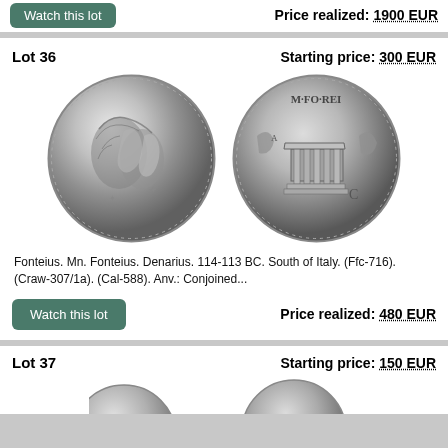Price realized: 1900 EUR
Lot 36    Starting price: 300 EUR
[Figure (photo): Two Roman coins: obverse showing conjoined busts, reverse showing M.FONTEI inscription with a temple/altar scene]
Fonteius. Mn. Fonteius. Denarius. 114-113 BC. South of Italy. (Ffc-716). (Craw-307/1a). (Cal-588). Anv.: Conjoined...
Price realized: 480 EUR
Lot 37    Starting price: 150 EUR
[Figure (photo): Two Roman coins partially visible at bottom of page]